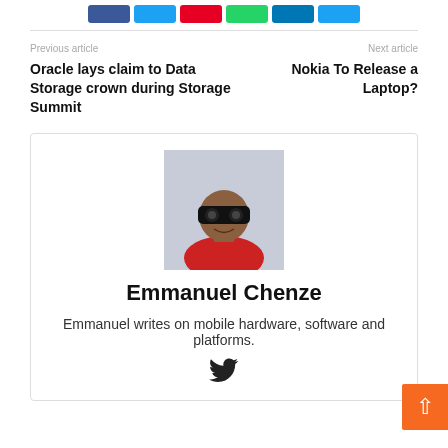[Figure (other): Row of social sharing buttons: Facebook (blue), Twitter (light blue), Pinterest (red), WhatsApp (green), LinkedIn (dark blue), Email (light blue)]
Previous article
Next article
Oracle lays claim to Data Storage crown during Storage Summit
Nokia To Release a Laptop?
[Figure (photo): Author photo of Emmanuel Chenze wearing VR goggles and a red shirt, against a light grey background]
Emmanuel Chenze
Emmanuel writes on mobile hardware, software and platforms.
[Figure (other): Twitter bird icon (social media link)]